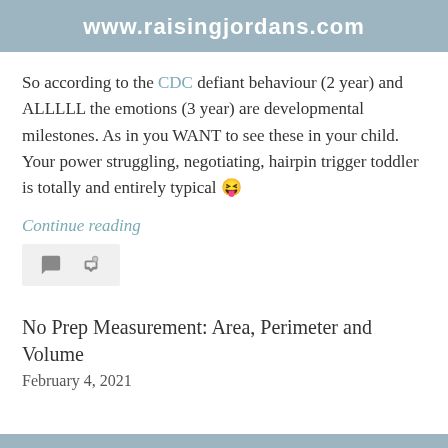www.raisingjordans.com
So according to the CDC defiant behaviour (2 year) and ALLLLL the emotions (3 year) are developmental milestones. As in you WANT to see these in your child. Your power struggling, negotiating, hairpin trigger toddler is totally and entirely typical 😛
Continue reading
No Prep Measurement: Area, Perimeter and Volume
February 4, 2021